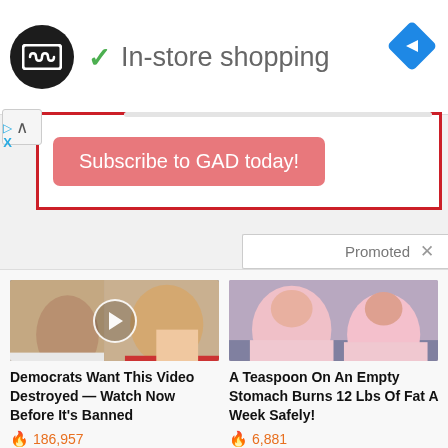[Figure (logo): Black circle logo with infinity-like symbol, checkmark icon and 'In-store shopping' text, blue navigation diamond icon]
Subscribe to GAD today!
[Figure (screenshot): Promoted content widget with two clickbait article thumbnails]
Democrats Want This Video Destroyed — Watch Now Before It's Banned
186,957
A Teaspoon On An Empty Stomach Burns 12 Lbs Of Fat A Week Safely!
6,881